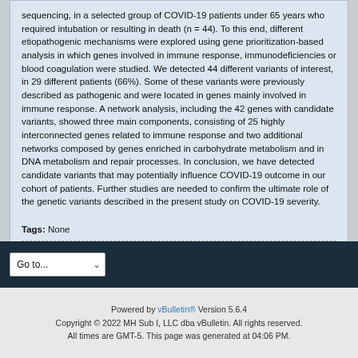sequencing, in a selected group of COVID-19 patients under 65 years who required intubation or resulting in death (n = 44). To this end, different etiopathogenic mechanisms were explored using gene prioritization-based analysis in which genes involved in immune response, immunodeficiencies or blood coagulation were studied. We detected 44 different variants of interest, in 29 different patients (66%). Some of these variants were previously described as pathogenic and were located in genes mainly involved in immune response. A network analysis, including the 42 genes with candidate variants, showed three main components, consisting of 25 highly interconnected genes related to immune response and two additional networks composed by genes enriched in carbohydrate metabolism and in DNA metabolism and repair processes. In conclusion, we have detected candidate variants that may potentially influence COVID-19 outcome in our cohort of patients. Further studies are needed to confirm the ultimate role of the genetic variants described in the present study on COVID-19 severity.
Tags: None
Powered by vBulletin® Version 5.6.4
Copyright © 2022 MH Sub I, LLC dba vBulletin. All rights reserved.
All times are GMT-5. This page was generated at 04:06 PM.